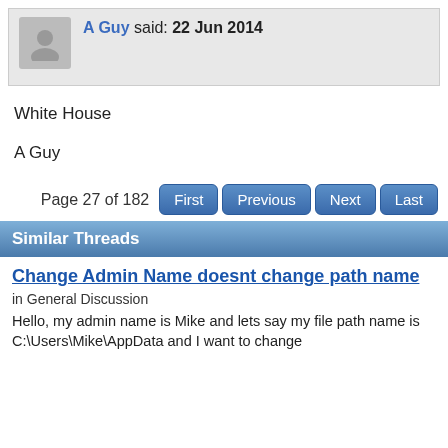A Guy said: 22 Jun 2014
White House
A Guy
Page 27 of 182  First  Previous  Next  Last
Similar Threads
Change Admin Name doesnt change path name
in General Discussion
Hello, my admin name is Mike and lets say my file path name is C:\Users\Mike\AppData and I want to change